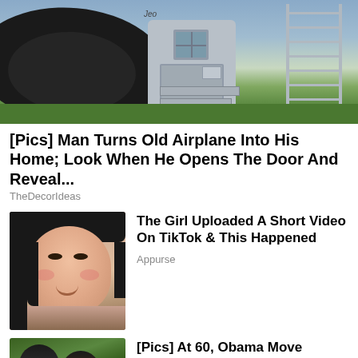[Figure (photo): Photo of a converted airplane home exterior showing cylindrical fuselage body, gray door with window, metal stairs, and green lawn background]
[Pics] Man Turns Old Airplane Into His Home; Look When He Opens The Door And Reveal...
TheDecorIdeas
[Figure (photo): Portrait photo of a young girl with dark hair and rosy cheeks, smiling]
The Girl Uploaded A Short Video On TikTok & This Happened
Appurse
[Figure (photo): Photo of Barack Obama and Michelle Obama wearing sunglasses outdoors]
[Pics] At 60, Obama Moved To This Modest House, Take A Look Inside